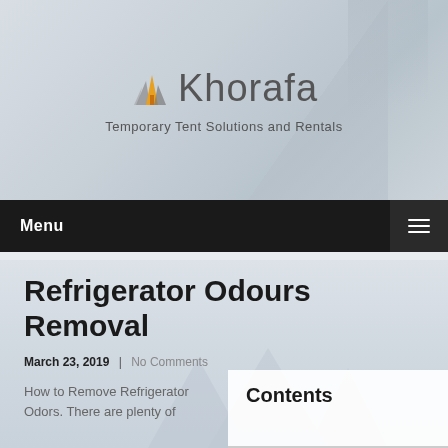[Figure (logo): Khorafa logo with geometric tent/mountain icon in orange and gray, with text 'Khorafa']
Temporary Tent Solutions and Rentals
Menu
Refrigerator Odours Removal
March 23, 2019  |  No Comments
How to Remove Refrigerator Odors. There are plenty of
Contents